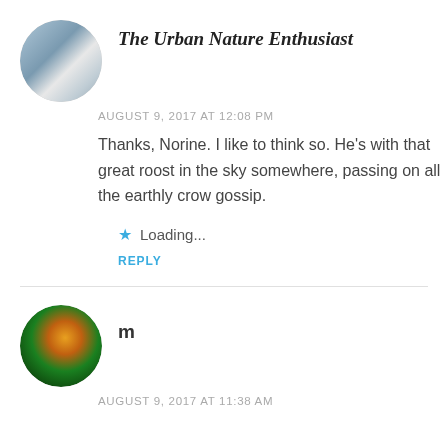The Urban Nature Enthusiast
AUGUST 9, 2017 AT 12:08 PM
Thanks, Norine. I like to think so. He's with that great roost in the sky somewhere, passing on all the earthly crow gossip.
★ Loading...
REPLY
m
AUGUST 9, 2017 AT 11:38 AM